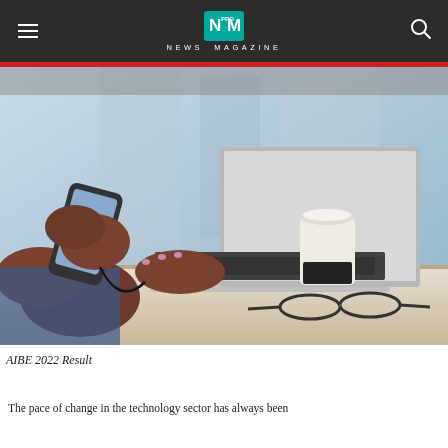NEWS MAGAZINE
[Figure (photo): Person using smartphone and laptop at a desk with a coffee cup and glasses nearby, blurred office background]
AIBE 2022 Result
The pace of change in the technology sector has always been